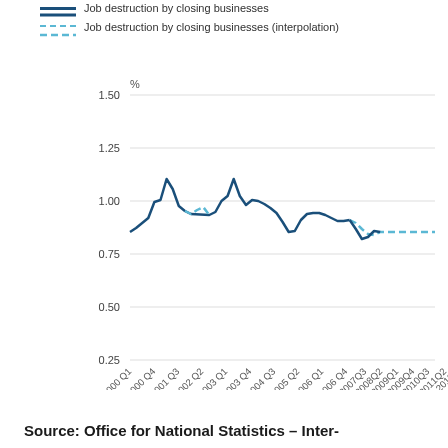[Figure (continuous-plot): Line chart showing job destruction by closing businesses (%) from 2000 Q1 to 2012, with a solid dark blue line for actual data and a dashed light blue line for interpolated data. Values range from about 0.62 in 2000 Q1, peak around 1.32 in 2001 Q3, another peak around 1.30 in 2004 Q1, then decline to around 0.75 by 2012.]
Source: Office for National Statistics – Inter-